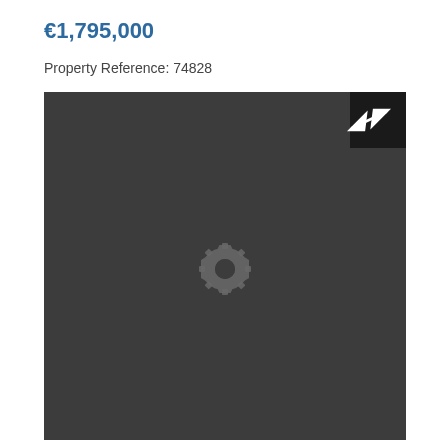€1,795,000
Property Reference: 74828
[Figure (other): Dark map placeholder with a loading/settings gear icon in the center and an expand arrow button in the top-right corner]